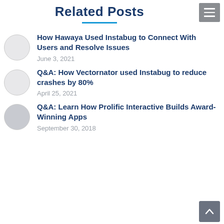Related Posts
How Hawaya Used Instabug to Connect With Users and Resolve Issues
June 3, 2021
Q&A: How Vectornator used Instabug to reduce crashes by 80%
April 25, 2021
Q&A: Learn How Prolific Interactive Builds Award-Winning Apps
September 30, 2018